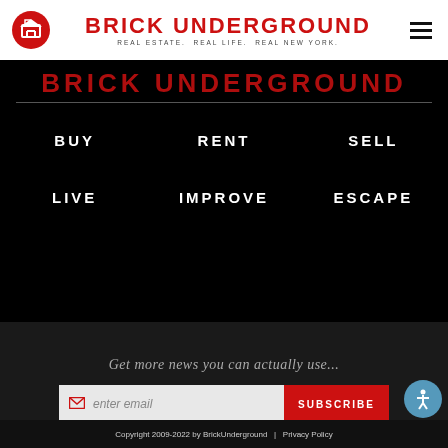BRICK UNDERGROUND — REAL ESTATE. REAL LIFE. REAL NEW YORK.
BRICK UNDERGROUND
BUY
RENT
SELL
LIVE
IMPROVE
ESCAPE
Get more news you can actually use...
enter email
SUBSCRIBE
Copyright 2009-2022 by BrickUnderground  |  Privacy Policy